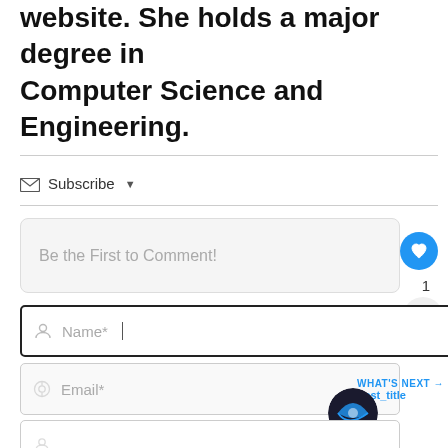website. She holds a major degree in Computer Science and Engineering.
Subscribe
Be the First to Comment!
1
Name*
Email*
WHAT'S NEXT → post_title